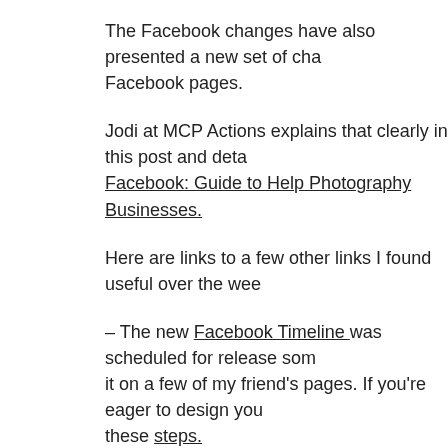The Facebook changes have also presented a new set of cha… Facebook pages.
Jodi at MCP Actions explains that clearly in this post and deta… Facebook: Guide to Help Photography Businesses.
Here are links to a few other links I found useful over the wee…
– The new Facebook Timeline was scheduled for release som… it on a few of my friend's pages. If you're eager to design you… these steps.
– Searching for a unique and outstanding cover photo. Check… your cover photo.
– And finally, here's 10 simple tips and tricks to get your timel…
We'll see what's changed between today and next Monday in… Facebook.
Thanks for tuning in!